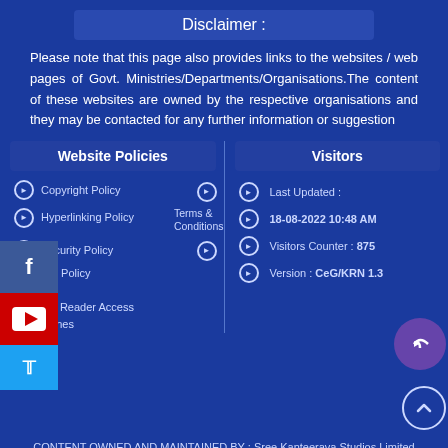Disclaimer :
Please note that this page also provides links to the websites / web pages of Govt. Ministries/Departments/Organisations.The content of these websites are owned by the respective organisations and they may be contacted for any further information or suggestion
Website Policies
Visitors
Copyright Policy
Terms & Conditions
Hyperlinking Policy
Security Policy
Last Updated :
18-08-2022 10:48 AM
Visitors Counter : 875
Version : CeG/KRN 1.3
Privacy Policy
Help
Screen Reader Access
Guidelines
CONTENT OWNED AND MAINTAINED BY : Sree Kanteerava Studios Limited